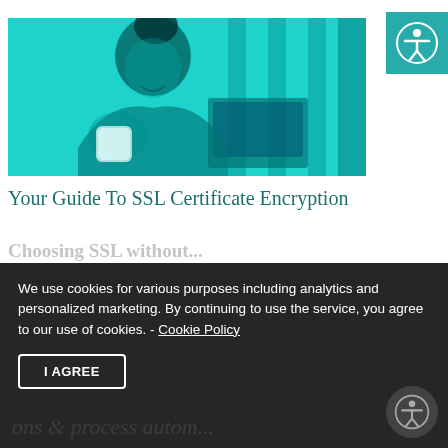[Figure (photo): Woman with curly hair leaning on a surface, smiling, holding a white mug, with a laptop visible, tinted teal/cyan color overlay]
[Figure (illustration): Teal square with white accessibility icon (person in circle) in top right corner]
Your Guide To SSL Certificate Encryption
Choosing SSL without...
We use cookies for various purposes including analytics and personalized marketing. By continuing to use the service, you agree to our use of cookies. - Cookie Policy
I AGREE